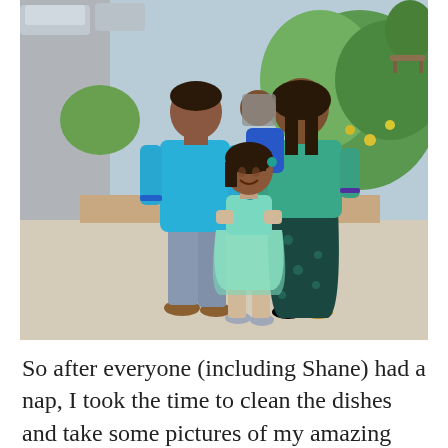[Figure (photo): A family of four posing on a sidewalk outdoors. A man in a bright cyan/turquoise polo shirt and gray pants stands on the left. A woman in a teal top and dark floral skirt stands on the right, holding a baby in a blue outfit. A young girl in a mint/teal tulle dress stands in front, smiling. They are in an urban outdoor setting with greenery and a brick ledge in the background.]
So after everyone (including Shane) had a nap, I took the time to clean the dishes and take some pictures of my amazing roses Shane